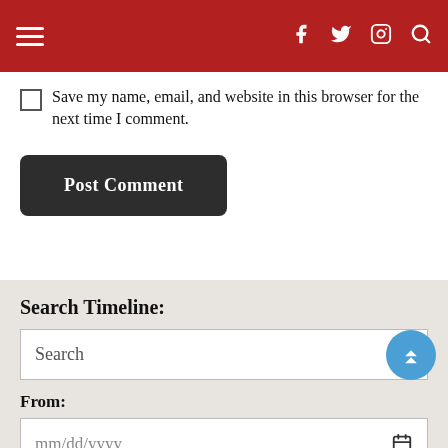≡ f 𝕏 ⊙ 🔍
Save my name, email, and website in this browser for the next time I comment.
Post Comment
Search Timeline:
Search
From:
mm/dd/yyyy
To:
mm/dd/yyyy